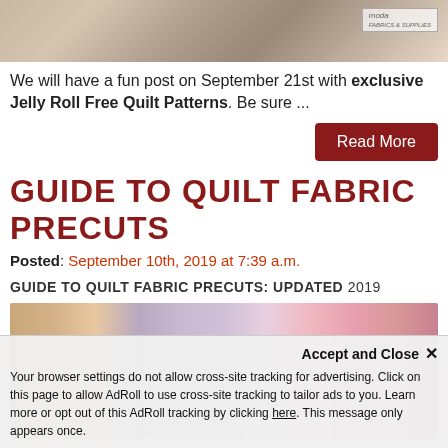[Figure (photo): Top partial image of fabric/quilting rolls with moda logo watermark in upper right corner]
We will have a fun post on September 21st with exclusive Jelly Roll Free Quilt Patterns.  Be sure ...
Read More
GUIDE TO QUILT FABRIC PRECUTS
Posted: September 10th, 2019 at 7:39 a.m.
GUIDE TO QUILT FABRIC PRECUTS: UPDATED 2019
[Figure (photo): Photo of multiple colorful jelly roll fabric precut bundles arranged together]
Accept and Close ×
Your browser settings do not allow cross-site tracking for advertising. Click on this page to allow AdRoll to use cross-site tracking to tailor ads to you. Learn more or opt out of this AdRoll tracking by clicking here. This message only appears once.